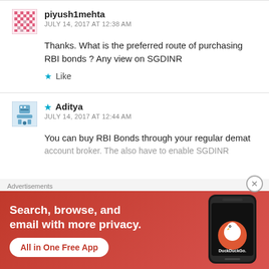piyush1mehta
JULY 14, 2017 AT 12:38 AM
Thanks. What is the preferred route of purchasing RBI bonds ? Any view on SGDINR
Like
★ Aditya
JULY 14, 2017 AT 12:44 AM
You can buy RBI Bonds through your regular demat account broker. The also have to enable SGDINR
[Figure (infographic): DuckDuckGo advertisement banner with orange/red background. Text: 'Search, browse, and email with more privacy. All in One Free App'. Shows a smartphone with DuckDuckGo logo.]
Advertisements